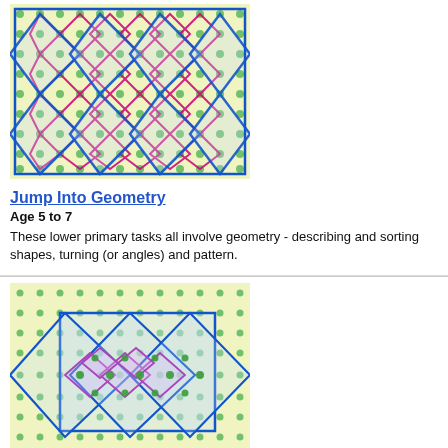[Figure (illustration): Colorful geometry pattern with overlapping diamond shapes in blue, magenta, and green on a yellow-green dotted grid background.]
Jump Into Geometry
Age 5 to 7
These lower primary tasks all involve geometry - describing and sorting shapes, turning (or angles) and pattern.
[Figure (illustration): Colorful geometry pattern with overlapping diamond and rectangle shapes in blue, magenta, and green on a yellow-green dotted grid background.]
Jump Into Geometry
Age 7 to 11